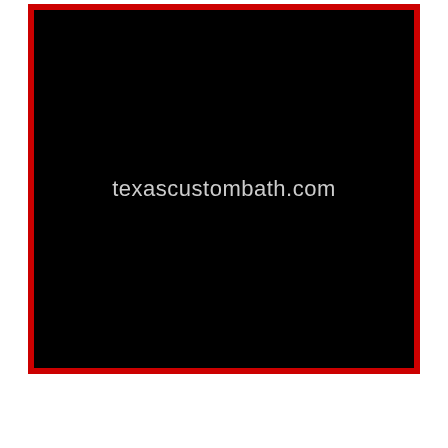[Figure (screenshot): Black video thumbnail with red border displaying the text 'texascustombath.com' in light gray centered in the frame]
How To: Remodeling Bathroom 1